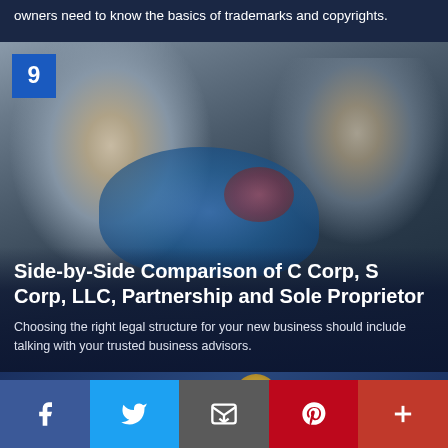owners need to know the basics of trademarks and copyrights.
[Figure (photo): Two mechanics working on a custom motorcycle in a garage, one smiling at the camera in the foreground.]
Side-by-Side Comparison of C Corp, S Corp, LLC, Partnership and Sole Proprietor
Choosing the right legal structure for your new business should include talking with your trusted business advisors.
[Figure (photo): Partial view of next article card with a blue badge number.]